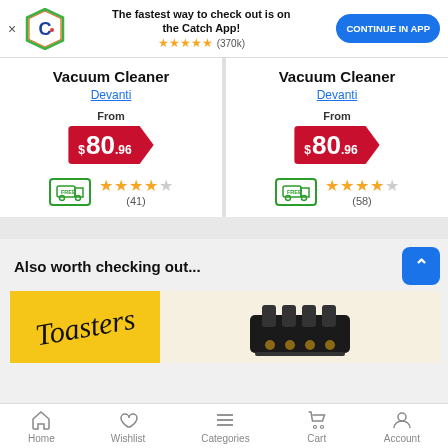[Figure (screenshot): App download banner with Catch.com.au logo, text 'The fastest way to check out is on the Catch App!', 5-star rating (370k reviews), and 'CONTINUE IN APP' button]
Vacuum Cleaner
Devanti
From
$80.96
FREE delivery
★★★★☆ (41)
Vacuum Cleaner
Devanti
From
$80.96
FREE delivery
★★★★☆ (58)
Also worth checking out...
[Figure (photo): Toaster promotional banner with yellow background and cursive 'Toasters' text on the left, a black 4-slot toaster on cream background on the right]
Home  Wishlist  Categories  Cart  Account